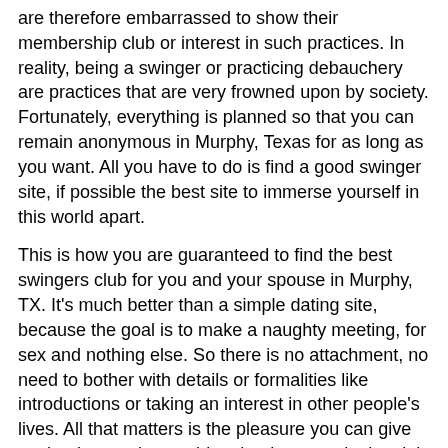are therefore embarrassed to show their membership club or interest in such practices. In reality, being a swinger or practicing debauchery are practices that are very frowned upon by society. Fortunately, everything is planned so that you can remain anonymous in Murphy, Texas for as long as you want. All you have to do is find a good swinger site, if possible the best site to immerse yourself in this world apart.
This is how you are guaranteed to find the best swingers club for you and your spouse in Murphy, TX. It's much better than a simple dating site, because the goal is to make a naughty meeting, for sex and nothing else. So there is no attachment, no need to bother with details or formalities like introductions or taking an interest in other people's lives. All that matters is the pleasure you can give each other, and everything that happens in the club stays in the club.
Swinging in Murphy, TX is primarily for couples
A swingers fan is a person who likes to have company above all